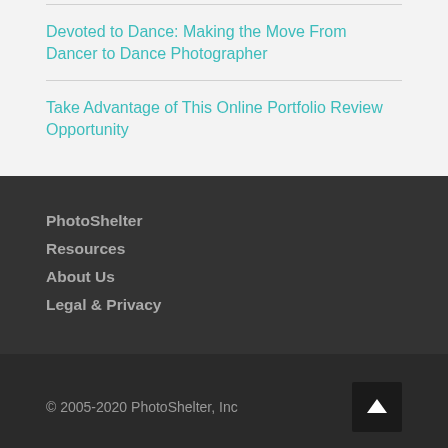Devoted to Dance: Making the Move From Dancer to Dance Photographer
Take Advantage of This Online Portfolio Review Opportunity
PhotoShelter
Resources
About Us
Legal & Privacy
© 2005-2020 PhotoShelter, Inc